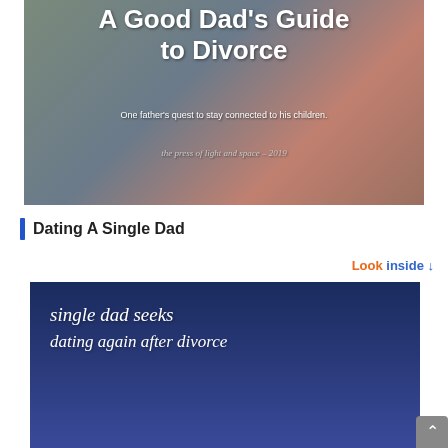[Figure (illustration): Book cover for 'A Good Dad's Guide to Divorce' — photo of adults with a child, white bold title text, subtitle 'One father's quest to stay connected to his children.' and italic text 'the press of light and space – 2019']
Dating A Single Dad
[Figure (illustration): Book cover with dark navy background and cursive white text reading 'single dad seeks dating again after divorce', with 'Look inside ↓' label in orange and blue at top right]